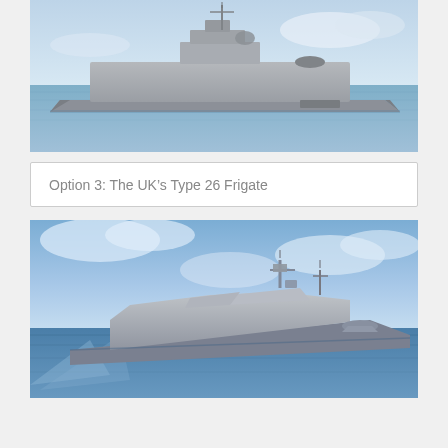[Figure (photo): Photograph of a naval frigate ship at sea, grey hull, calm blue water, light sky]
Option 3: The UK’s Type 26 Frigate
[Figure (photo): Photograph/rendering of the UK Type 26 Frigate at sea, modern stealth design, grey hull, blue ocean and cloudy sky, aerial angle]